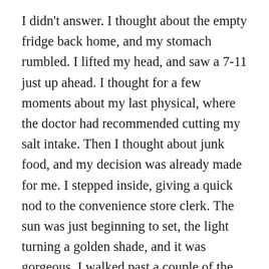I didn't answer. I thought about the empty fridge back home, and my stomach rumbled. I lifted my head, and saw a 7-11 just up ahead. I thought for a few moments about my last physical, where the doctor had recommended cutting my salt intake. Then I thought about junk food, and my decision was already made for me. I stepped inside, giving a quick nod to the convenience store clerk. The sun was just beginning to set, the light turning a golden shade, and it was gorgeous. I walked past a couple of the employees. One of them smiled at me. A young white male, a little taller than me, face a little scruffy, but friendly enough. I returned the smile, and stood in front of the Slushie machine.
I watched, almost hypnotized, as the green slush filled the cup. I thought about obesity and diabetes